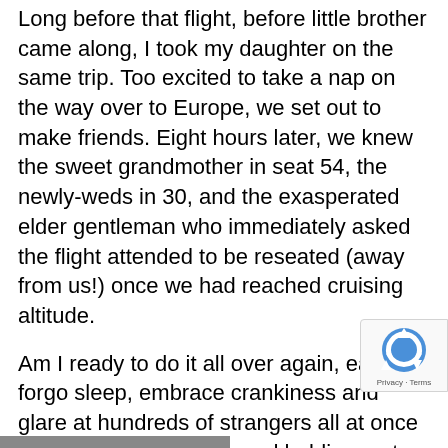Long before that flight, before little brother came along, I took my daughter on the same trip. Too excited to take a nap on the way over to Europe, we set out to make friends. Eight hours later, we knew the sweet grandmother in seat 54, the newly-weds in 30, and the exasperated elder gentleman who immediately asked the flight attended to be reseated (away from us!) once we had reached cruising altitude.
Am I ready to do it all over again, eager to forgo sleep, embrace crankiness and glare at hundreds of strangers all at once while pulling suitcases and holding on to two kids through customs? You bet!
Once my German relatives welcome the fried-of-us in Frankfurt, it'll all be worth it!